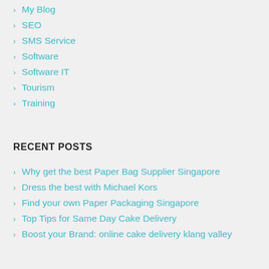My Blog
SEO
SMS Service
Software
Software IT
Tourism
Training
RECENT POSTS
Why get the best Paper Bag Supplier Singapore
Dress the best with Michael Kors
Find your own Paper Packaging Singapore
Top Tips for Same Day Cake Delivery
Boost your Brand: online cake delivery klang valley
AUGUST 2022